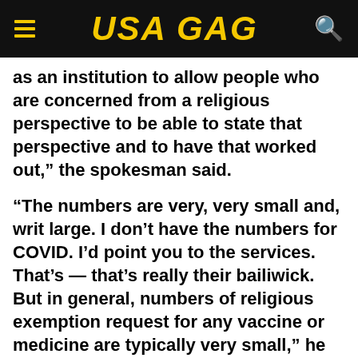USA GAG
as an institution to allow people who are concerned from a religious perspective to be able to state that perspective and to have that worked out,” the spokesman said.
“The numbers are very, very small and, writ large. I don’t have the numbers for COVID. I’d point you to the services. That’s — that’s really their bailiwick. But in general, numbers of religious exemption request for any vaccine or medicine are typically very small,” he said.
We believe that — and you’ve heard the secretary say this. The vaccines are safe. They’re effective and “they are really the — one of the best ways we can preserve the readiness of the force to make — to